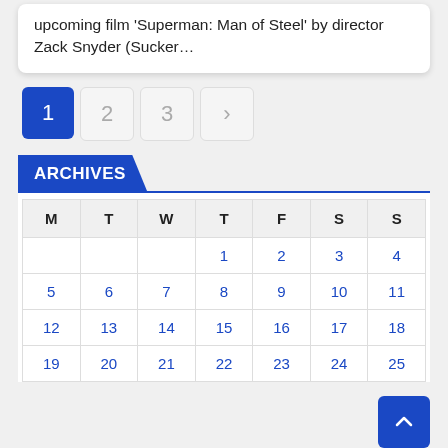upcoming film 'Superman: Man of Steel' by director Zack Snyder (Sucker…
1  2  3  >
ARCHIVES
| M | T | W | T | F | S | S |
| --- | --- | --- | --- | --- | --- | --- |
|  |  |  | 1 | 2 | 3 | 4 |
| 5 | 6 | 7 | 8 | 9 | 10 | 11 |
| 12 | 13 | 14 | 15 | 16 | 17 | 18 |
| 19 | 20 | 21 | 22 | 23 | 24 | 25 |